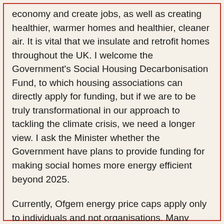economy and create jobs, as well as creating healthier, warmer homes and healthier, cleaner air. It is vital that we insulate and retrofit homes throughout the UK. I welcome the Government's Social Housing Decarbonisation Fund, to which housing associations can directly apply for funding, but if we are to be truly transformational in our approach to tackling the climate crisis, we need a longer view. I ask the Minister whether the Government have plans to provide funding for making social homes more energy efficient beyond 2025.
Currently, Ofgem energy price caps apply only to individuals and not organisations. Many housing associations manage energy bills for housing schemes through heat networks. Residents who receive their energy this way